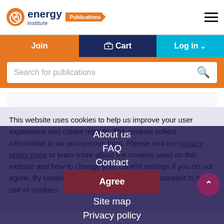[Figure (logo): Energy Institute Publications logo with orange circle icon and text]
Join  Cart  Log in
Search for publications
This website uses cookies to help us improve your user experience and create reports. The cookies collect information in an anonymous form. Please visit our privacy policy page to learn more about the cookies used on this website and how to change your current settings if you do not agree. By continuing to use this website, you consent to the use of cookies.
Agree
About us
FAQ
Contact
Site map
Privacy policy